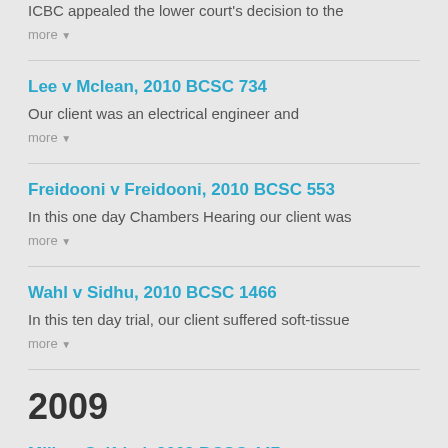ICBC appealed the lower court's decision to the
more ▾
Lee v Mclean, 2010 BCSC 734
Our client was an electrical engineer and
more ▾
Freidooni v Freidooni, 2010 BCSC 553
In this one day Chambers Hearing our client was
more ▾
Wahl v Sidhu, 2010 BCSC 1466
In this ten day trial, our client suffered soft-tissue
more ▾
2009
Mills v Seifried, 2009 BCSC 447